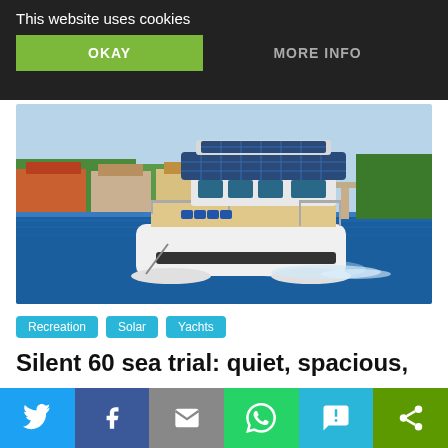This website uses cookies
OKAY
MORE INFO
[Figure (photo): A modern white solar-powered catamaran yacht with blue solar panels on its roof, cruising on blue water with waterfront houses and palm trees in the background.]
Recreation
Solar
Yachts
Silent 60 sea trial: quiet, spacious,